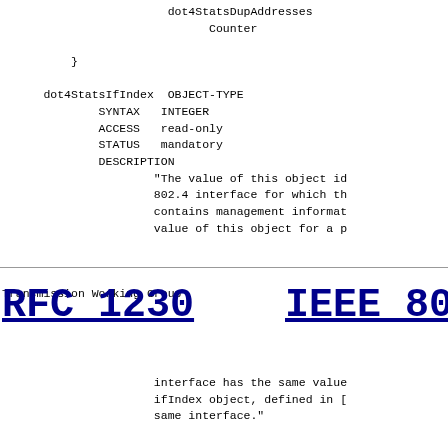dot4StatsDupAddresses
              Counter

          }

      dot4StatsIfIndex  OBJECT-TYPE
              SYNTAX   INTEGER
              ACCESS   read-only
              STATUS   mandatory
              DESCRIPTION
                      "The value of this object id
                      802.4 interface for which th
                      contains management informat
                      value of this object for a p
Transmission Working Group
RFC 1230
IEEE 80
interface has the same value
              ifIndex object, defined in [
              same interface."